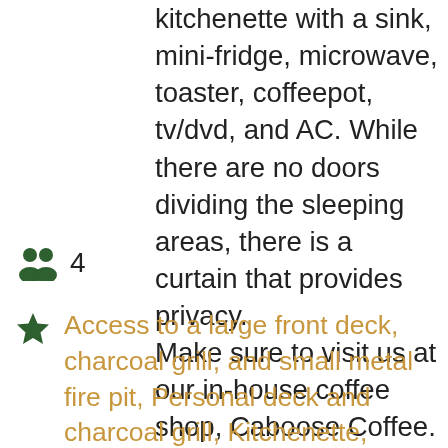kitchenette with a sink, mini-fridge, microwave, toaster, coffeepot, tv/dvd, and AC. While there are no doors dividing the sleeping areas, there is a curtain that provides privacy.
Make sure to visit us at our in-house coffee shop, Caboose Coffee.
4
Access to a large front deck, charcoal grill, and small metal fire pit, Personal deck and charcoal grill, Kitchenette, Coffeepot, Dishes/Utensils, Microwave, Refrigerator, Toaster, Shower, HD TV with DVD & VCR, Satellite/Cable, AC, Heater, Wi-Fi, No Smoking,